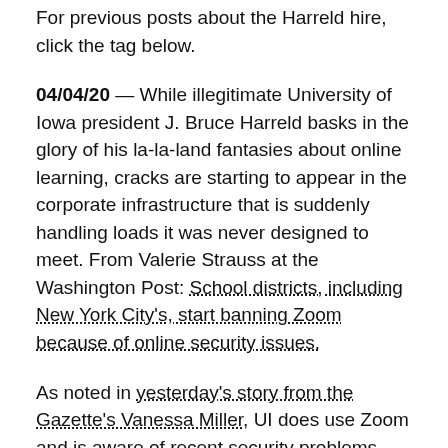For previous posts about the Harreld hire, click the tag below.
04/04/20 — While illegitimate University of Iowa president J. Bruce Harreld basks in the glory of his la-la-land fantasies about online learning, cracks are starting to appear in the corporate infrastructure that is suddenly handling loads it was never designed to meet. From Valerie Strauss at the Washington Post: School districts, including New York City's, start banning Zoom because of online security issues.
As noted in yesterday's story from the Gazette's Vanessa Miller, UI does use Zoom and is aware of recent security problems. Now add corporate gaslighting and dirty tricks to weaknesses in any application or service, and we're about to see an all-out war for market share in virtual/online...